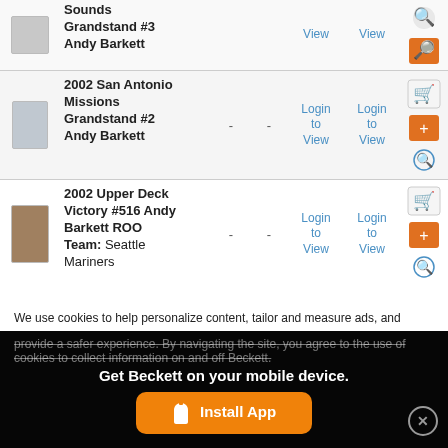| Image | Name | Price Lo | Price Hi | Login/View 1 | Login/View 2 | Actions |
| --- | --- | --- | --- | --- | --- | --- |
| [img] | Sounds Grandstand #3 Andy Barkett | View | View |  |  |
| [img] | 2002 San Antonio Missions Grandstand #2 Andy Barkett | - | - | Login to View | Login to View |
| [img] | 2002 Upper Deck Victory #516 Andy Barkett ROO
Team: Seattle Mariners | - | - | Login to View | Login to View |
| [img] | 2002 Upper Deck Victory Gold #516 Andy Barkett ROO | - | - | Login to View | Login to View |
We use cookies to help personalize content, tailor and measure ads, and provide a safer experience. By navigating the site, you agree to the use of cookies to collect information on and off Beckett.
Get Beckett on your mobile device.
Install App